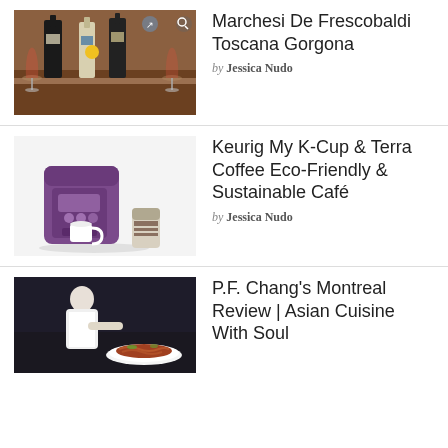[Figure (photo): Wine bottles and glasses on a table]
Marchesi De Frescobaldi Toscana Gorgona
by Jessica Nudo
[Figure (photo): Purple Keurig coffee maker with a small can]
Keurig My K-Cup & Terra Coffee Eco-Friendly & Sustainable Café
by Jessica Nudo
[Figure (photo): Chef plating food at a restaurant]
P.F. Chang's Montreal Review | Asian Cuisine With Soul